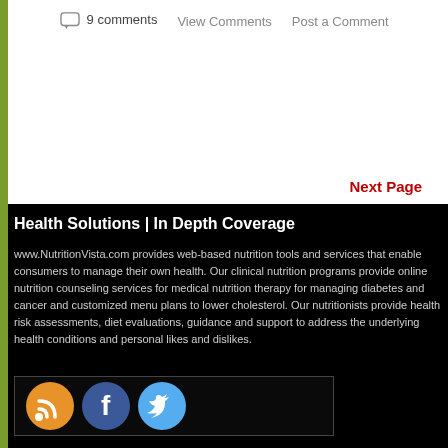9 comments   View Comments   Post a Comment
Next Page
Health Solutions | In Depth Coverage
www.NutritionVista.com provides web-based nutrition tools and services that enable consumers to manage their own health. Our clinical nutrition programs provide online nutrition counseling services for medical nutrition therapy for managing diabetes and cancer and customized menu plans to lower cholesterol. Our nutritionists provide health risk assessments, diet evaluations, guidance and support to address the underlying health conditions and personal likes and dislikes.
[Figure (infographic): Social media icons: RSS feed (orange), Facebook (blue), Twitter (light blue)]
Health
Nutrition
Wellness
Recipes
Nutrition BUZZ
Nutrition Tools
By The Way
Cancer
Diabetes
Top 10 Foods
Step 1: Self Assessment
Packages
Newsletter Archives & Subscription
Resou...
Food C...
Medic...
About...
Our Te...
Join N...
My Da...
NutritionVista™© 2022   Last Updated ...